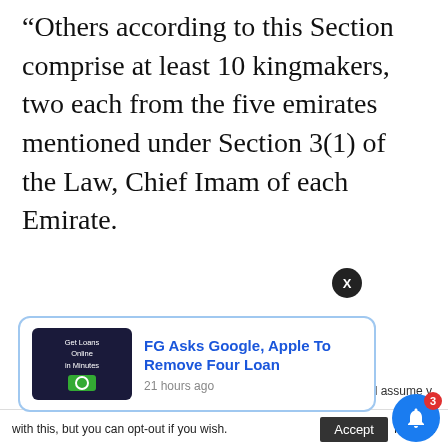“Others according to this Section comprise at least 10 kingmakers, two each from the five emirates mentioned under Section 3(1) of the Law, Chief Imam of each Emirate.
[Figure (screenshot): Web page popup notification showing article: 'FG Asks Google, Apple To Remove Four Loan' published 21 hours ago, with a dark image thumbnail showing a phone screen with text 'Get Loans Online in Minutes', and an X close button. Below is a cookie consent bar with accept button and partial text.]